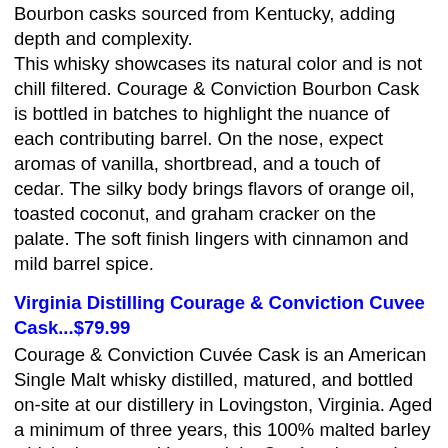Bourbon casks sourced from Kentucky, adding depth and complexity.
This whisky showcases its natural color and is not chill filtered. Courage & Conviction Bourbon Cask is bottled in batches to highlight the nuance of each contributing barrel. On the nose, expect aromas of vanilla, shortbread, and a touch of cedar. The silky body brings flavors of orange oil, toasted coconut, and graham cracker on the palate. The soft finish lingers with cinnamon and mild barrel spice.
Virginia Distilling Courage & Conviction Cuvee Cask...$79.99
Courage & Conviction Cuvée Cask is an American Single Malt whisky distilled, matured, and bottled on-site at our distillery in Lovingston, Virginia. Aged a minimum of three years, this 100% malted barley whisky is matured in specialty Cuvée wine casks.
This whisky showcases its natural color and is not chill filtered. Courage & Conviction Cuvée Cask is bottled in batches to highlight the nuance of each contributing barrel. On the nose, expect aromas of plum, dark raspberry, rich chocolate torte and clove. The palate brings flavors of tart